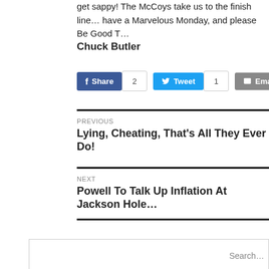get sappy!  The McCoys take us to the finish line… have a Marvelous Monday, and please Be Good T…
Chuck Butler
[Figure (other): Social sharing buttons: Share (2), Tweet (1), Email (2)]
PREVIOUS
Lying, Cheating, That's All They Ever Do!
NEXT
Powell To Talk Up Inflation At Jackson Hole…
Search…